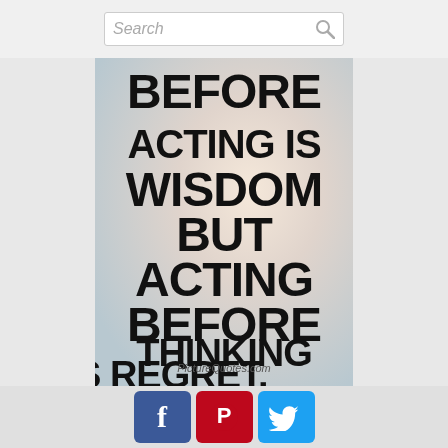Search
[Figure (illustration): Motivational quote image with blurred gradient background. Text reads: BEFORE ACTING IS WISDOM BUT ACTING BEFORE THINKING IS REGRET. Watermark: PictureQuotes.com]
[Figure (infographic): Social sharing buttons: Facebook (f), Pinterest (P), Twitter (bird icon)]